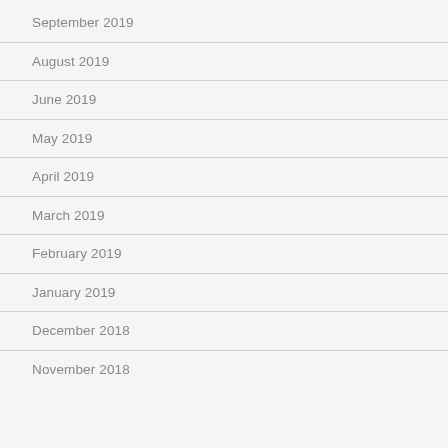September 2019
August 2019
June 2019
May 2019
April 2019
March 2019
February 2019
January 2019
December 2018
November 2018